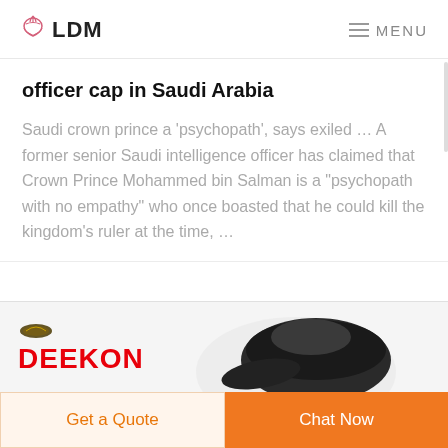LDM   MENU
officer cap in Saudi Arabia
Saudi crown prince a 'psychopath', says exiled ... A former senior Saudi intelligence officer has claimed that Crown Prince Mohammed bin Salman is a "psychopath with no empathy" who once boasted that he could kill the kingdom's ruler at the time, …
[Figure (logo): DEEKON logo with red bold text and an emblem above it, alongside a partial image of a dark officer cap]
Get a Quote   Chat Now